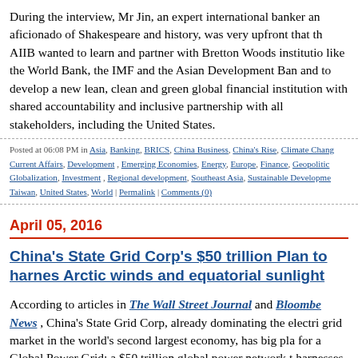During the interview, Mr Jin, an expert international banker and aficionado of Shakespeare and history, was very upfront that the AIIB wanted to learn and partner with Bretton Woods institutions like the World Bank, the IMF and the Asian Development Bank, and to develop a new lean, clean and green global financial institution with shared accountability and inclusive partnerships with all stakeholders, including the United States.
Posted at 06:08 PM in Asia, Banking, BRICS, China Business, China's Rise, Climate Change, Current Affairs, Development, Emerging Economies, Energy, Europe, Finance, Geopolitics, Globalization, Investment, Regional development, Southeast Asia, Sustainable Development, Taiwan, United States, World | Permalink | Comments (0)
April 05, 2016
China's State Grid Corp's $50 trillion Plan to harness Arctic winds and equatorial sunlight
According to articles in The Wall Street Journal and Bloomberg News, China's State Grid Corp, already dominating the electric grid market in the world's second largest economy, has big plans for a Global Power Grid: a $50 trillion global power network that harnesses Arctic winds and equatorial sunlight, capitalizing on advances in renewable power and transmission technology.